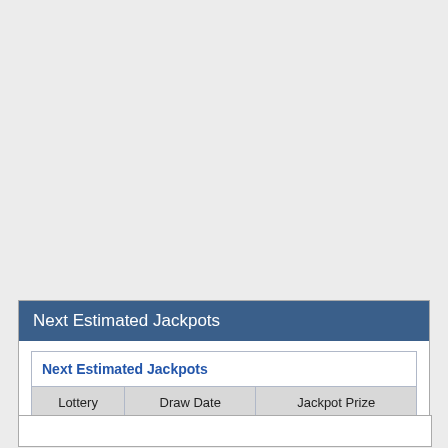Next Estimated Jackpots
| Lottery | Draw Date | Jackpot Prize |
| --- | --- | --- |